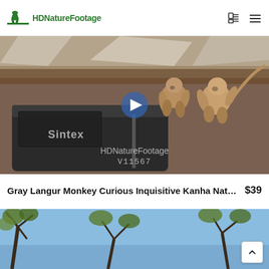HDNatureFootage
[Figure (screenshot): Video thumbnail showing two gray langur monkeys on a rooftop with a Sintex water tank. Watermark reads 'HDNatureFootage V11567'. Blue play button in center.]
Gray Langur Monkey Curious Inquisitive Kanha Natio...
$39
[Figure (screenshot): Second video thumbnail showing tree branches against a blue sky, partially visible.]